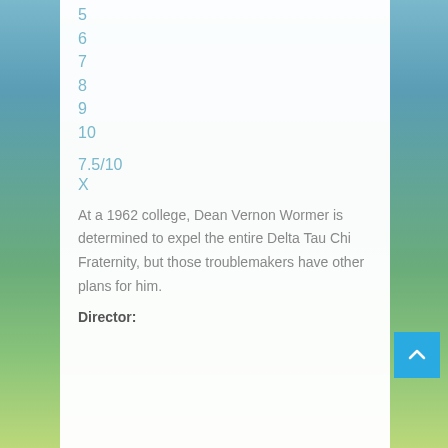5
6
7
8
9
10
7.5/10
X
At a 1962 college, Dean Vernon Wormer is determined to expel the entire Delta Tau Chi Fraternity, but those troublemakers have other plans for him.
Director: